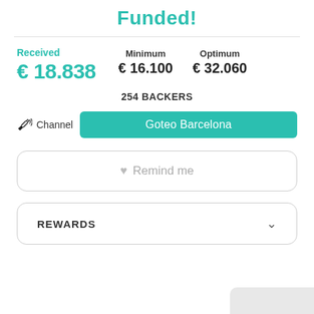Funded!
Received
€ 18.838
Minimum
€ 16.100
Optimum
€ 32.060
254 BACKERS
Channel  Goteo Barcelona
♥ Remind me
REWARDS